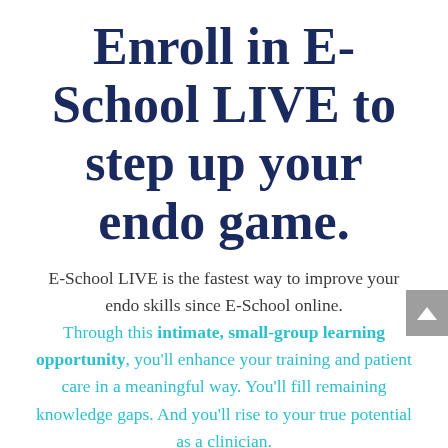Enroll in E-School LIVE to step up your endo game.
E-School LIVE is the fastest way to improve your endo skills since E-School online. Through this intimate, small-group learning opportunity, you'll enhance your training and patient care in a meaningful way. You'll fill remaining knowledge gaps. And you'll rise to your true potential as a clinician.
You can expect to perform at least...